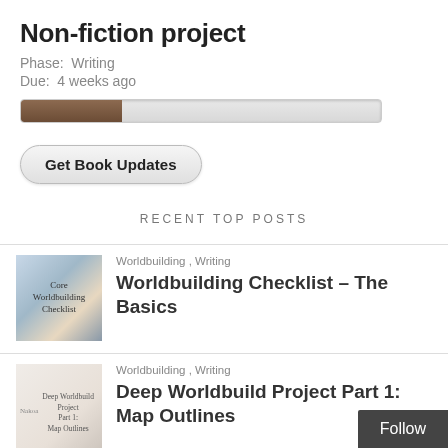Non-fiction project
Phase:  Writing
Due:  4 weeks ago
[Figure (other): Progress bar showing approximately 28% completion, filled with brown/tan color]
Get Book Updates
RECENT TOP POSTS
[Figure (photo): Book cover thumbnail for 'Core Worldbuilding Checklist' with globe image]
Worldbuilding , Writing
Worldbuilding Checklist – The Basics
[Figure (photo): Book cover thumbnail for 'Deep Worldbuild Project Part 1: Map Outlines']
Worldbuilding , Writing
Deep Worldbuild Project Part 1: Map Outlines
Follow